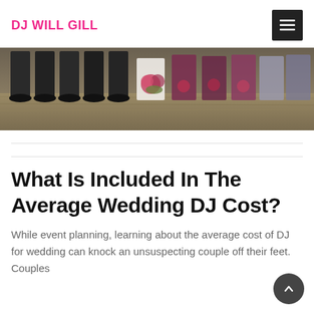DJ WILL GILL
[Figure (photo): Wedding party photo showing lower halves of people standing outdoors, including groomsmen in dark suits and bridesmaids in colorful dresses with bouquets, on sandy/grassy ground.]
What Is Included In The Average Wedding DJ Cost?
While event planning, learning about the average cost of DJ for wedding can knock an unsuspecting couple off their feet. Couples